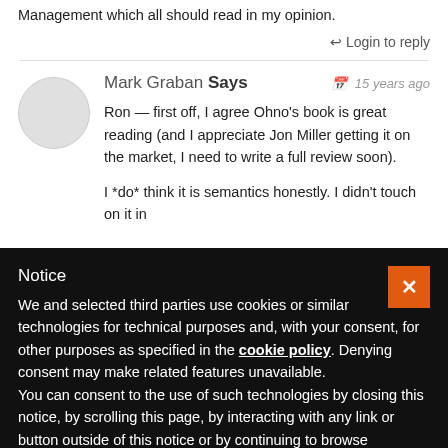Management which all should read in my opinion.
Login to reply
Mark Graban Says
15 years ago
Ron — first off, I agree Ohno's book is great reading (and I appreciate Jon Miller getting it on the market, I need to write a full review soon).
I *do* think it is semantics honestly. I didn't touch on it in
Notice
We and selected third parties use cookies or similar technologies for technical purposes and, with your consent, for other purposes as specified in the cookie policy. Denying consent may make related features unavailable.
You can consent to the use of such technologies by closing this notice, by scrolling this page, by interacting with any link or button outside of this notice or by continuing to browse otherwise.